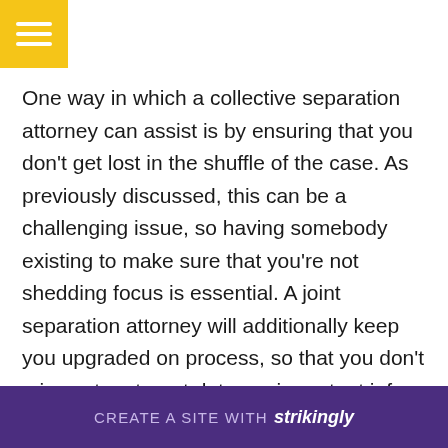[Figure (other): Yellow hamburger menu button in top-left corner]
One way in which a collective separation attorney can assist is by ensuring that you don't get lost in the shuffle of the case. As previously discussed, this can be a challenging issue, so having somebody existing to make sure that you're not shedding focus is essential. A joint separation attorney will additionally keep you upgraded on process, so that you don't miss out on target dates or important info. Last but not least, it's important to discover an attorney that is experienced with separation regulation. This is one area where experience is important to have balance, and i...
[Figure (other): Purple banner at bottom: CREATE A SITE WITH strikingly]